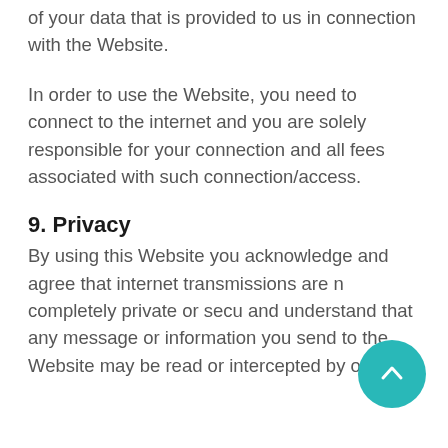of your data that is provided to us in connection with the Website.
In order to use the Website, you need to connect to the internet and you are solely responsible for your connection and all fees associated with such connection/access.
9. Privacy
By using this Website you acknowledge and agree that internet transmissions are n completely private or secu and understand that any message or information you send to the Website may be read or intercepted by others